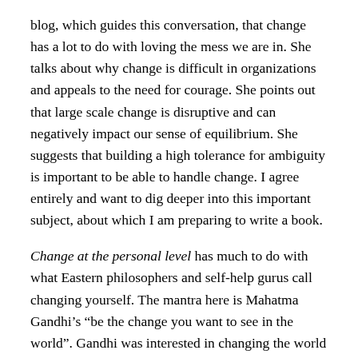blog, which guides this conversation, that change has a lot to do with loving the mess we are in. She talks about why change is difficult in organizations and appeals to the need for courage. She points out that large scale change is disruptive and can negatively impact our sense of equilibrium. She suggests that building a high tolerance for ambiguity is important to be able to handle change. I agree entirely and want to dig deeper into this important subject, about which I am preparing to write a book.
Change at the personal level has much to do with what Eastern philosophers and self-help gurus call changing yourself. The mantra here is Mahatma Gandhi's “be the change you want to see in the world”. Gandhi was interested in changing the world and, much in line with Eastern philosophy, suggested that any change can only occur if it starts within oneself. My personal experience is that I can change myself all I want; the world is still going to pot. There’s got to be an additional lever for change or we will never get anywhere. What I am saying is: yes, let us find ways to change ourselves, to reflect on our blind spots, to